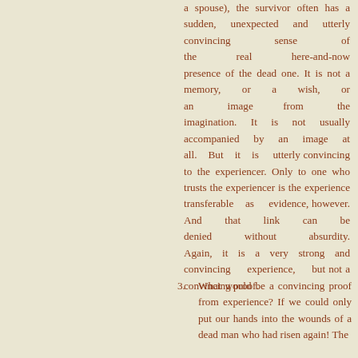a spouse), the survivor often has a sudden, unexpected and utterly convincing sense of the real here-and-now presence of the dead one. It is not a memory, or a wish, or an image from the imagination. It is not usually accompanied by an image at all. But it is utterly convincing to the experiencer. Only to one who trusts the experiencer is the experience transferable as evidence, however. And that link can be denied without absurdity. Again, it is a very strong and convincing experience, but not a convincing proof.
3. What would be a convincing proof from experience? If we could only put our hands into the wounds of a dead man who had risen again! The